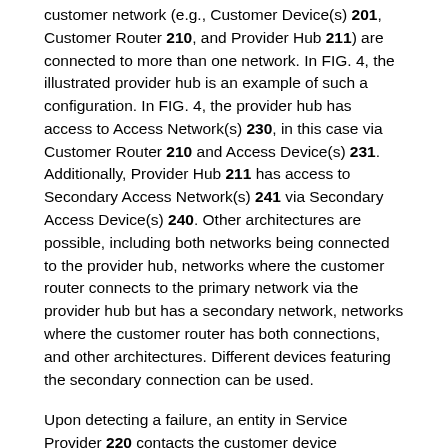customer network (e.g., Customer Device(s) 201, Customer Router 210, and Provider Hub 211) are connected to more than one network. In FIG. 4, the illustrated provider hub is an example of such a configuration. In FIG. 4, the provider hub has access to Access Network(s) 230, in this case via Customer Router 210 and Access Device(s) 231. Additionally, Provider Hub 211 has access to Secondary Access Network(s) 241 via Secondary Access Device(s) 240. Other architectures are possible, including both networks being connected to the provider hub, networks where the customer router connects to the primary network via the provider hub but has a secondary network, networks where the customer router has both connections, and other architectures. Different devices featuring the secondary connection can be used.
Upon detecting a failure, an entity in Service Provider 220 contacts the customer device equipped with a secondary network over the secondary network. In some cases, the remote device may (initially) be unaware that the connection is not working properly, but is made aware via the secondary network connection. The remote device